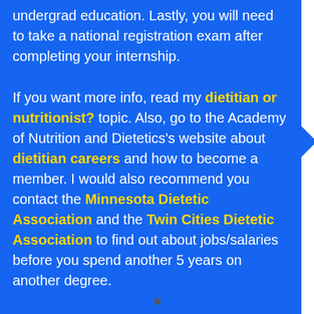undergrad education. Lastly, you will need to take a national registration exam after completing your internship.
If you want more info, read my dietitian or nutritionist? topic. Also, go to the Academy of Nutrition and Dietetics's website about dietitian careers and how to become a member. I would also recommend you contact the Minnesota Dietetic Association and the Twin Cities Dietetic Association to find out about jobs/salaries before you spend another 5 years on another degree.
Why though don't you want to pursue a job with your